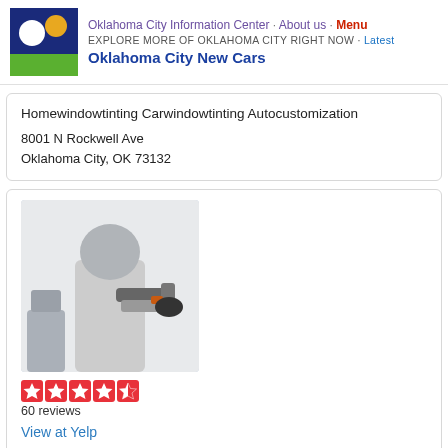Oklahoma City Information Center · About us · Menu
EXPLORE MORE OF OKLAHOMA CITY RIGHT NOW · Latest
Oklahoma City New Cars
Homewindowtinting Carwindowtinting Autocustomization
8001 N Rockwell Ave
Oklahoma City, OK 73132
[Figure (photo): A person in protective gear using a spray gun, likely in an auto body shop]
60 reviews
View at Yelp
Freeman Collision Center
Bodyshops
3429 N May Ave